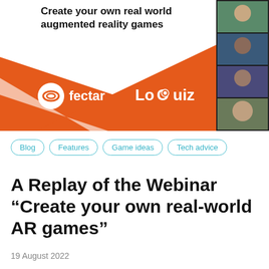[Figure (illustration): Banner advertisement for fectar and LoQuiz showing orange triangle design with logos and text 'Create your own real world augmented reality games', with a phone screenshot showing video call participants on the right side.]
Blog
Features
Game ideas
Tech advice
A Replay of the Webinar “Create your own real-world AR games”
19 August 2022